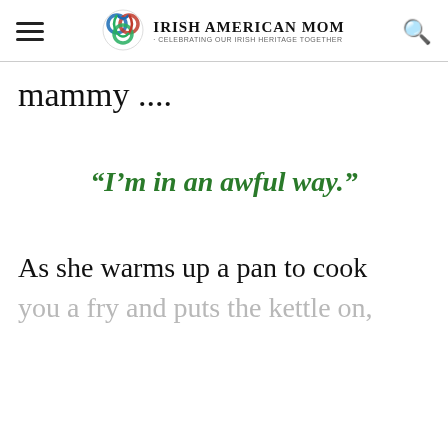Irish American Mom - Celebrating Our Irish Heritage Together
mammy ....
“I’m in an awful way.”
As she warms up a pan to cook
you a fry and puts the kettle on,